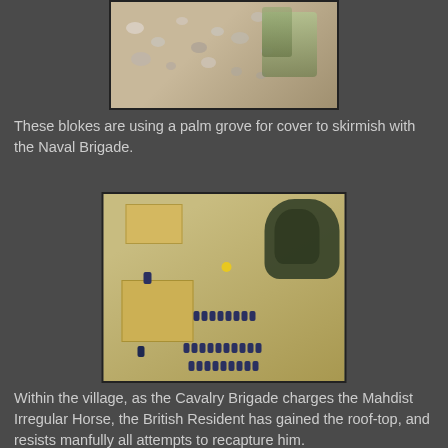[Figure (photo): Top-down photo of wargaming miniatures scattered on a sandy/tan game board, depicting figures using a palm grove area for cover.]
These blokes are using a palm grove for cover to skirmish with the Naval Brigade.
[Figure (photo): Photo of wargaming miniatures on a tan game board showing a village scene with wooden building blocks, rows of uniformed figures (Naval Brigade), and a tree cluster in the upper right.]
Within the village, as the Cavalry Brigade charges the Mahdist Irregular Horse, the British Resident has gained the roof-top, and resists manfully all attempts to recapture him.